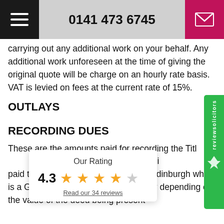0141 473 6745
carrying out any additional work on your behalf. Any additional work unforeseen at the time of giving the original quote will be charge on an hourly rate basis. VAT is levied on fees at the current rate of 15%.
OUTLAYS
RECORDING DUES
These are the amounts paid for recording the Title a [the] Land Registers of Scot[land] i[n] [are] paid to the Keeper of th[e] R[egisters of Scotland in E]dinburgh which is a G[overnment body] whose charges vary depending on the value of the deed being present[ed].